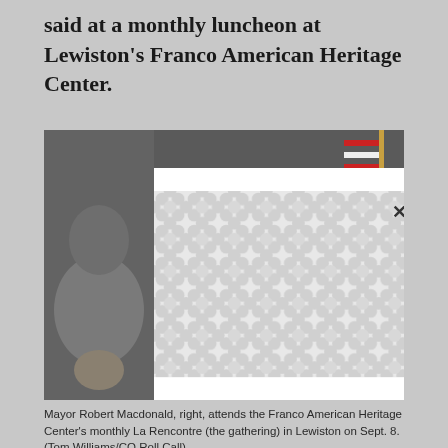said at a monthly luncheon at Lewiston's Franco American Heritage Center.
[Figure (photo): Photo of Mayor Robert Macdonald at Franco American Heritage Center, with a modal/lightbox overlay showing a loading pattern with an X close button. A person is visible on the left side and an American flag on the right side of the background photo.]
Mayor Robert Macdonald, right, attends the Franco American Heritage Center's monthly La Rencontre (the gathering) in Lewiston on Sept. 8. (Tom Williams/CQ Roll Call)